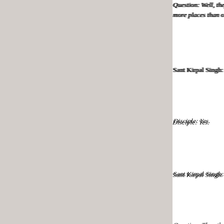Question: Well, they more places than o
Sant Kirpal Singh: W
Disciple: Yes.
Sant Kirpal Singh: T
Question: Then the cafeteria, and out o And then my brothe not?" He said, "You "Master loomed up
Sant Kirpal Singh: T
Disciple: So there's
Sant Kirpal Singh: O That power is alway
Vai all'inizio della pagina